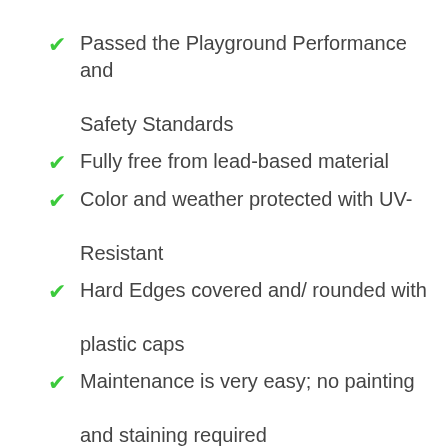Passed the Playground Performance and Safety Standards
Fully free from lead-based material
Color and weather protected with UV-Resistant
Hard Edges covered and/ rounded with plastic caps
Maintenance is very easy; no painting and staining required
Rigid hardtop roof on the clubhouse